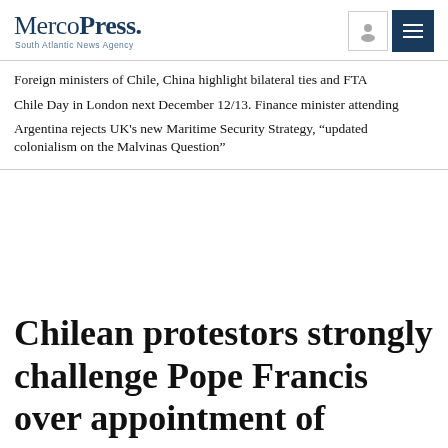MercoPress. South Atlantic News Agency
Foreign ministers of Chile, China highlight bilateral ties and FTA
Chile Day in London next December 12/13. Finance minister attending
Argentina rejects UK's new Maritime Security Strategy, “updated colonialism on the Malvinas Question”
Chilean protestors strongly challenge Pope Francis over appointment of bishop